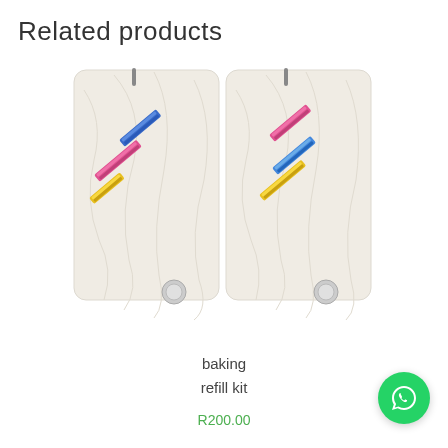Related products
[Figure (photo): Two transparent plastic bags filled with white powder/flour, each with colorful diagonal stripe logos - left bag has blue, pink, and yellow stripes; right bag has pink, blue, and yellow stripes. Small circular tags at bottom corners.]
baking refill kit
R200.00